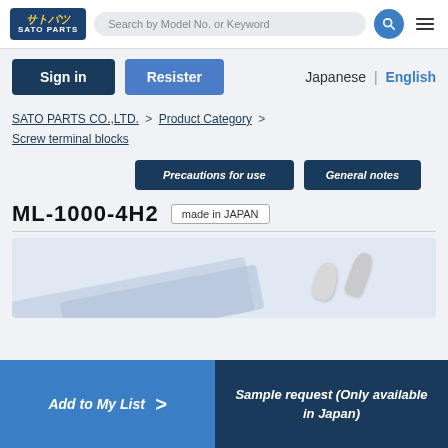SATO PARTS | Search by Model No. or Keyword
Sign in | Resister | Japanese | English
SATO PARTS CO.,LTD. > Product Category > Screw terminal blocks
Precautions for use | General notes
ML-1000-4H2   made in JAPAN
[Figure (photo): Product image area showing screw terminal block components (ML-1000-4H2) on a light blue background with diagonal stripe decorations]
Add to My List > | Sample request (Only available in Japan)